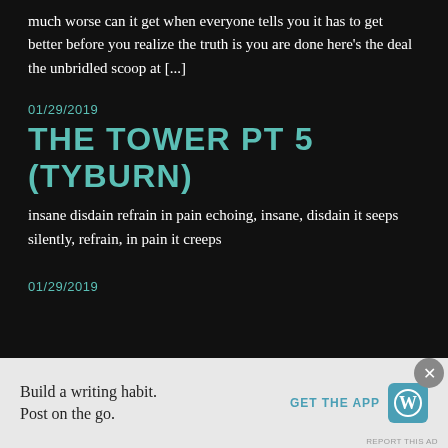much worse can it get when everyone tells you it has to get better before you realize the truth is you are done here's the deal the unbridled scoop at [...]
01/29/2019
THE TOWER PT 5 (TYBURN)
insane disdain refrain in pain echoing, insane, disdain it seeps silently, refrain, in pain it creeps
01/29/2019
Build a writing habit. Post on the go.
GET THE APP